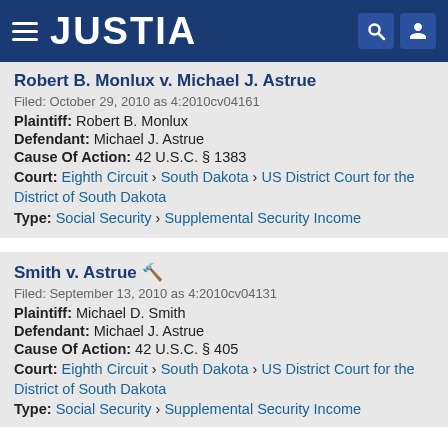JUSTIA
Robert B. Monlux v. Michael J. Astrue
Filed: October 29, 2010 as 4:2010cv04161
Plaintiff: Robert B. Monlux
Defendant: Michael J. Astrue
Cause Of Action: 42 U.S.C. § 1383
Court: Eighth Circuit › South Dakota › US District Court for the District of South Dakota
Type: Social Security › Supplemental Security Income
Smith v. Astrue 🔨
Filed: September 13, 2010 as 4:2010cv04131
Plaintiff: Michael D. Smith
Defendant: Michael J. Astrue
Cause Of Action: 42 U.S.C. § 405
Court: Eighth Circuit › South Dakota › US District Court for the District of South Dakota
Type: Social Security › Supplemental Security Income